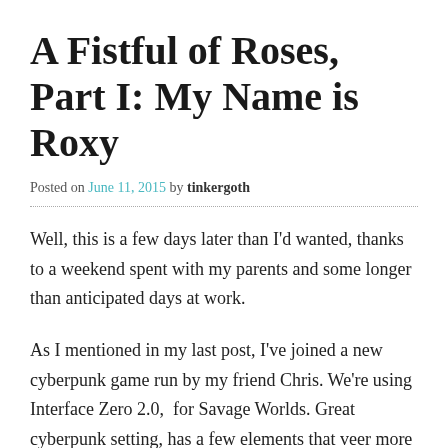A Fistful of Roses, Part I: My Name is Roxy
Posted on June 11, 2015 by tinkergoth
Well, this is a few days later than I'd wanted, thanks to a weekend spent with my parents and some longer than anticipated days at work.
As I mentioned in my last post, I've joined a new cyberpunk game run by my friend Chris. We're using Interface Zero 2.0,  for Savage Worlds. Great cyberpunk setting, has a few elements that veer more into transhumanism than cyberpunk (the human/animal hybrids and so on), but in the main it's a very genre faithful setting. Lots of hacking, virtual reality, mechanical